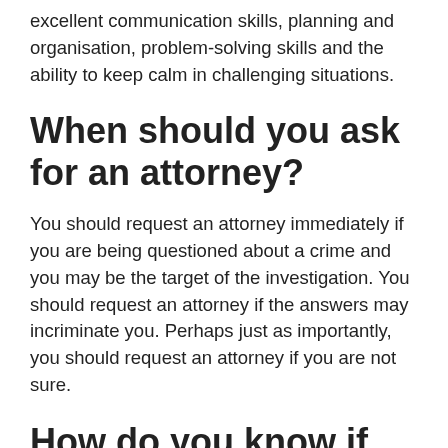excellent communication skills, planning and organisation, problem-solving skills and the ability to keep calm in challenging situations.
When should you ask for an attorney?
You should request an attorney immediately if you are being questioned about a crime and you may be the target of the investigation. You should request an attorney if the answers may incriminate you. Perhaps just as importantly, you should request an attorney if you are not sure.
How do you know if police are investigating you?